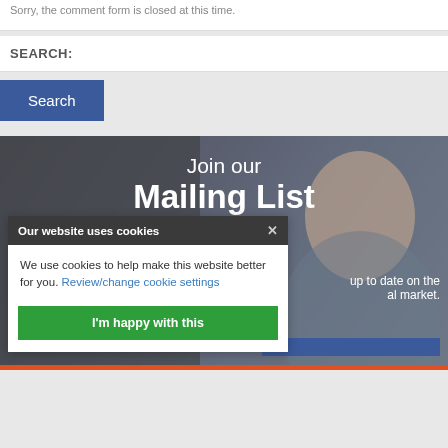Sorry, the comment form is closed at this time.
SEARCH:
Search
[Figure (photo): Woman smiling, used as mailing list banner background]
Join our Mailing List
up to date on the al market.
Our website uses cookies
We use cookies to help make this website better for you. Review/change cookie settings
I'm happy with this